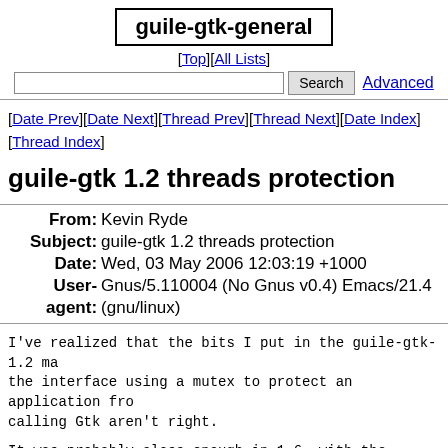guile-gtk-general
[Top][All Lists]
Search  Advanced
[Date Prev][Date Next][Thread Prev][Thread Next][Date Index][Thread Index]
guile-gtk 1.2 threads protection
| Field | Value |
| --- | --- |
| From | Kevin Ryde |
| Subject | guile-gtk 1.2 threads protection |
| Date | Wed, 03 May 2006 12:03:19 +1000 |
| User-agent | Gnus/5.110004 (No Gnus v0.4) Emacs/21.4 (gnu/linux) |
I've realized that the bits I put in the guile-gtk-1.2 ma the interface using a mutex to protect an application fro calling Gtk aren't right.
It was probably close enough in 1.6, with the threading switching within a guile func.  But in 1.8 the SCM_DEFER had in mind certainly doesn't do the right thing.